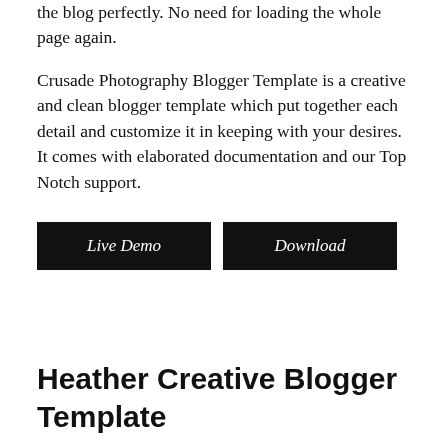the blog perfectly. No need for loading the whole page again.
Crusade Photography Blogger Template is a creative and clean blogger template which put together each detail and customize it in keeping with your desires. It comes with elaborated documentation and our Top Notch support.
Live Demo
Download
Heather Creative Blogger Template